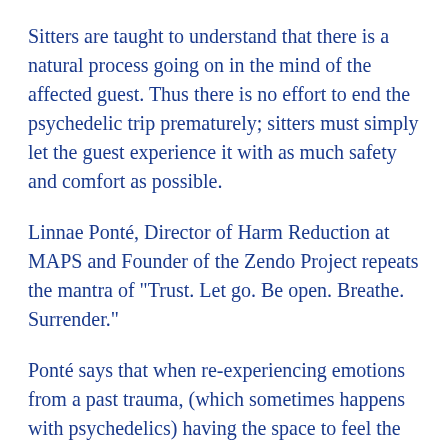Sitters are taught to understand that there is a natural process going on in the mind of the affected guest. Thus there is no effort to end the psychedelic trip prematurely; sitters must simply let the guest experience it with as much safety and comfort as possible.
Linnae Ponté, Director of Harm Reduction at MAPS and Founder of the Zendo Project repeats the mantra of "Trust. Let go. Be open. Breathe. Surrender."
Ponté says that when re-experiencing emotions from a past trauma, (which sometimes happens with psychedelics) having the space to feel the extent of that pain and suffering can be a pivotal to the guest's healing opportunity. A sitter must acknowledge that